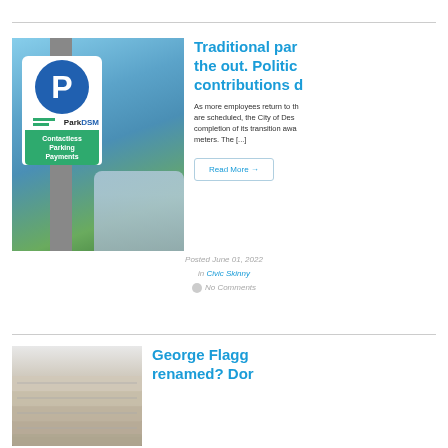[Figure (photo): ParkDSM contactless parking payments sign with a car in background]
Traditional parking meters are on the out. Political contributions d...
As more employees return to their offices and events are scheduled, the City of Des Moines is nearing completion of its transition away from traditional meters. The [...]
Read More →
Posted June 01, 2022
in Civic Skinny
No Comments
[Figure (photo): Stack of newspapers]
George Flagg Park renamed? Don...